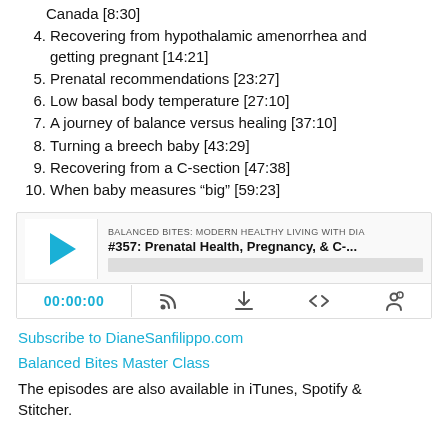Canada [8:30]
4. Recovering from hypothalamic amenorrhea and getting pregnant [14:21]
5. Prenatal recommendations [23:27]
6. Low basal body temperature [27:10]
7. A journey of balance versus healing [37:10]
8. Turning a breech baby [43:29]
9. Recovering from a C-section [47:38]
10. When baby measures “big” [59:23]
[Figure (screenshot): Audio player widget for Balanced Bites podcast episode #357: Prenatal Health, Pregnancy, & C-... with play button, progress bar, timestamp 00:00:00 and control icons]
Subscribe to DianeSanfilippo.com
Balanced Bites Master Class
The episodes are also available in iTunes, Spotify & Stitcher.